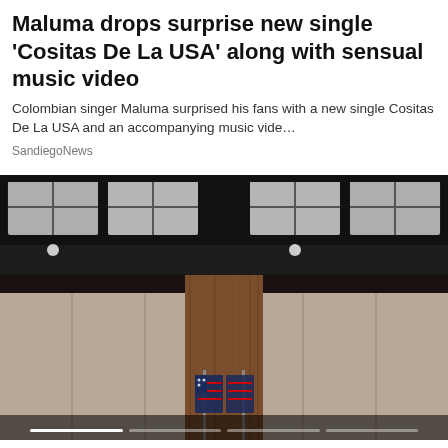Maluma drops surprise new single 'Cositas De La USA' along with sensual music video
Colombian singer Maluma surprised his fans with a new single Cositas De La USA and an accompanying music vide…
SandiegoNews
[Figure (photo): Interior photo of a formal room with a dark ceiling featuring rectangular light panels, beige paneled walls, a central wooden accent wall, and flags (including an American flag) partially visible at the bottom center. Carousel indicator dots visible at the bottom.]